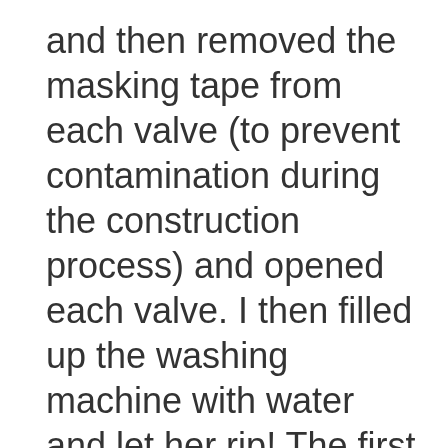and then removed the masking tape from each valve (to prevent contamination during the construction process) and opened each valve. I then filled up the washing machine with water and let her rip! The first load used to perform a system flush to make sure that any dirt in the system was fully flushed out of the pipes. I then did a couple of additional runs to adjust the streams coming into